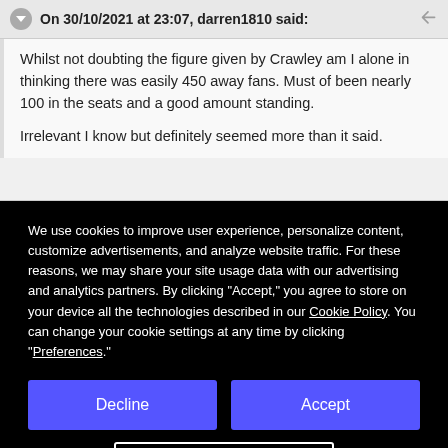On 30/10/2021 at 23:07, darren1810 said:
Whilst not doubting the figure given by Crawley am I alone in thinking there was easily 450 away fans. Must of been nearly 100 in the seats and a good amount standing.

Irrelevant I know but definitely seemed more than it said.
We use cookies to improve user experience, personalize content, customize advertisements, and analyze website traffic. For these reasons, we may share your site usage data with our advertising and analytics partners. By clicking “Accept,” you agree to store on your device all the technologies described in our Cookie Policy. You can change your cookie settings at any time by clicking “Preferences.”